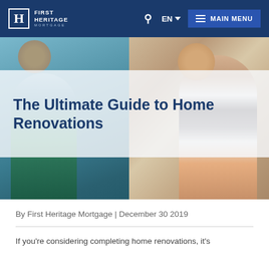First Heritage Mortgage | EN | MAIN MENU
[Figure (photo): Two children painting or cleaning a window/surface during a home renovation activity. Left side shows a boy, right side shows a girl in a striped shirt smiling.]
The Ultimate Guide to Home Renovations
By First Heritage Mortgage | December 30 2019
If you're considering completing home renovations, it's